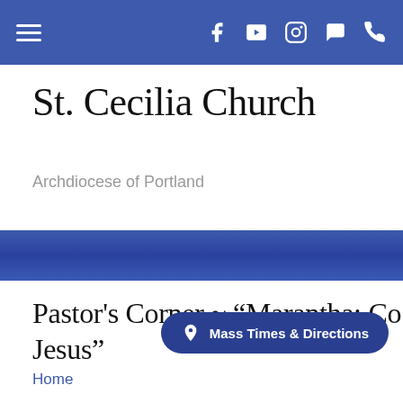St. Cecilia Church — navigation bar with hamburger menu and social icons
St. Cecilia Church
Archdiocese of Portland
[Figure (other): Blue decorative banner bar]
Pastor's Corner ~ "Marantha: Co… Jesus"
Mass Times & Directions
Home